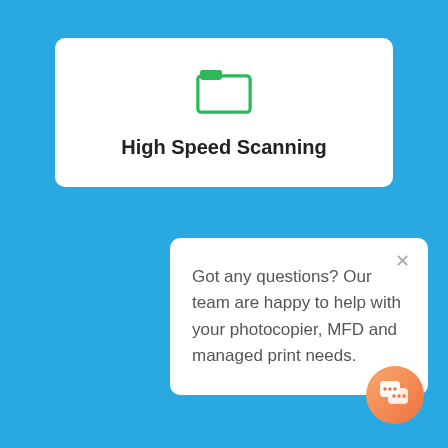[Figure (illustration): Green folder icon inside a white rounded card]
High Speed Scanning
Got any questions? Our team are happy to help with your photocopier, MFD and managed print needs.
[Figure (illustration): Orange chat bubble button in bottom right corner]